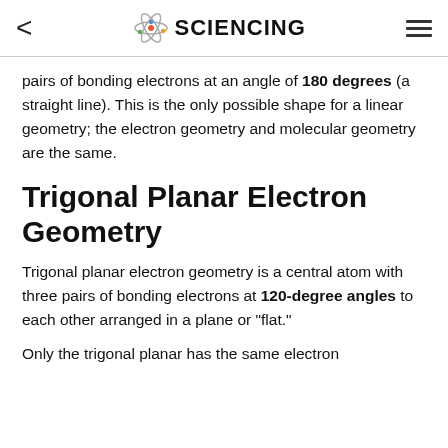< SCIENCING ≡
pairs of bonding electrons at an angle of 180 degrees (a straight line). This is the only possible shape for a linear geometry; the electron geometry and molecular geometry are the same.
Trigonal Planar Electron Geometry
Trigonal planar electron geometry is a central atom with three pairs of bonding electrons at 120-degree angles to each other arranged in a plane or "flat."
Only the trigonal planar has the same electron